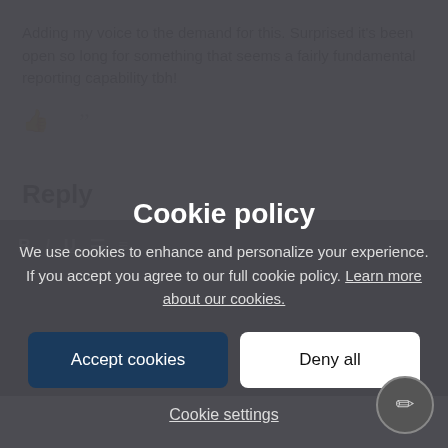Adding my voice to the demand for this. Surprised it's been open so long for something that seems a fairly fundamental reporting capability tbh!
Reply
Cookie policy
We use cookies to enhance and personalize your experience. If you accept you agree to our full cookie policy. Learn more about our cookies.